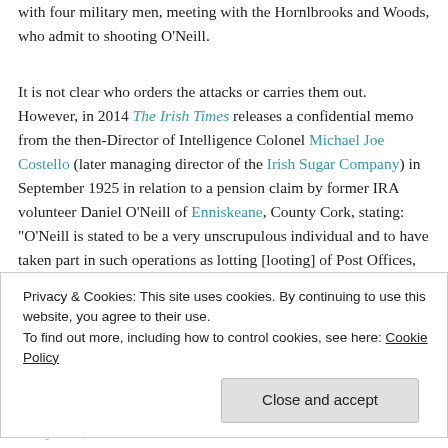with four military men, meeting with the Hornlbrooks and Woods, who admit to shooting O'Neill.
It is not clear who orders the attacks or carries them out. However, in 2014 The Irish Times releases a confidential memo from the then-Director of Intelligence Colonel Michael Joe Costello (later managing director of the Irish Sugar Company) in September 1925 in relation to a pension claim by former IRA volunteer Daniel O'Neill of Enniskeane, County Cork, stating: "O'Neill is stated to be a very unscrupulous individual and to have taken part in such operations as lotting [looting] of Post Offices, robbing of Postmen and the murder of several
Privacy & Cookies: This site uses cookies. By continuing to use this website, you agree to their use. To find out more, including how to control cookies, see here: Cookie Policy
treaty side, which controls the Provisional Government in